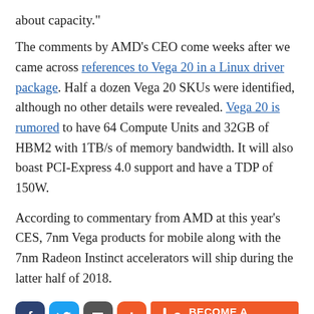about capacity."
The comments by AMD's CEO come weeks after we came across references to Vega 20 in a Linux driver package. Half a dozen Vega 20 SKUs were identified, although no other details were revealed. Vega 20 is rumored to have 64 Compute Units and 32GB of HBM2 with 1TB/s of memory bandwidth. It will also boast PCI-Express 4.0 support and have a TDP of 150W.
According to commentary from AMD at this year's CES, 7nm Vega products for mobile along with the 7nm Radeon Instinct accelerators will ship during the latter half of 2018.
[Figure (other): Social share buttons: Facebook, Twitter, Share, Plus; and Become a Patron button]
Tags: AMD , 7nm , (nasdaq:amd) , lisa su , vega 20